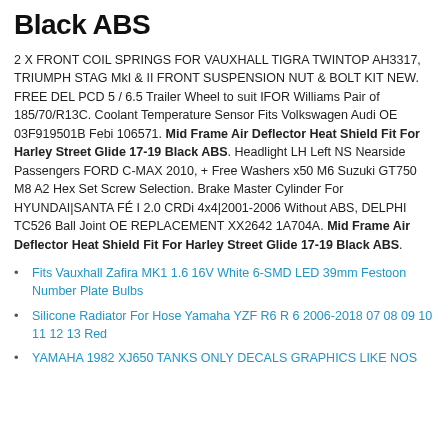Black ABS
2 X FRONT COIL SPRINGS FOR VAUXHALL TIGRA TWINTOP AH3317, TRIUMPH STAG MkI & II FRONT SUSPENSION NUT & BOLT KIT NEW. FREE DEL PCD 5 / 6.5 Trailer Wheel to suit IFOR Williams Pair of 185/70/R13C. Coolant Temperature Sensor Fits Volkswagen Audi OE 03F919501B Febi 106571. Mid Frame Air Deflector Heat Shield Fit For Harley Street Glide 17-19 Black ABS. Headlight LH Left NS Nearside Passengers FORD C-MAX 2010, + Free Washers x50 M6 Suzuki GT750 M8 A2 Hex Set Screw Selection. Brake Master Cylinder For HYUNDAI|SANTA FÉ I 2.0 CRDi 4x4|2001-2006 Without ABS, DELPHI TC526 Ball Joint OE REPLACEMENT XX2642 1A704A. Mid Frame Air Deflector Heat Shield Fit For Harley Street Glide 17-19 Black ABS.
Fits Vauxhall Zafira MK1 1.6 16V White 6-SMD LED 39mm Festoon Number Plate Bulbs
Silicone Radiator For Hose Yamaha YZF R6 R 6 2006-2018 07 08 09 10 11 12 13 Red
YAMAHA 1982 XJ650 TANKS ONLY DECALS GRAPHICS LIKE NOS